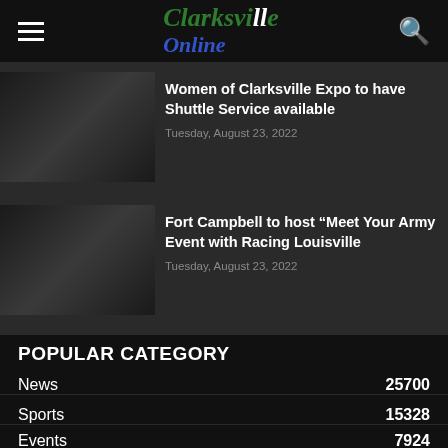Clarksville Online
Women of Clarksville Expo to have Shuttle Service available
Tuesday, August 23, 2022
Fort Campbell to host “Meet Your Army Event with Racing Louisville
Tuesday, August 23, 2022
POPULAR CATEGORY
News 25700
Sports 15328
Events 7924